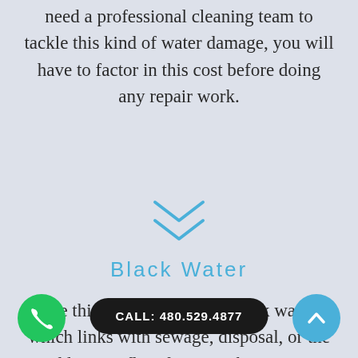need a professional cleaning team to tackle this kind of water damage, you will have to factor in this cost before doing any repair work.
[Figure (illustration): Double chevron / down-arrow icon in blue, used as a section divider]
Black Water
The third type of water is black water, which links with sewage, disposal, or the sudden overflow from nearby rivers or exterior water sources. Keep in mind that this type of water is highly contaminated with bacteria and other toxic objects, multiplying faster than you would probably expect. Black...
CALL: 480.529.4877